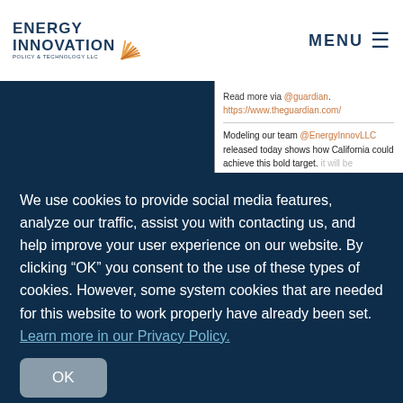Energy Innovation Policy & Technology LLC — MENU
Read more via @guardian.
https://www.theguardian.com/
Modeling our team @EnergyInnovLLC released today shows how California could achieve this bold target. it will be challenging, but it is doable and delivers enormous climate, economic
We use cookies to provide social media features, analyze our traffic, assist you with contacting us, and help improve your user experience on our website. By clicking “OK” you consent to the use of these types of cookies. However, some system cookies that are needed for this website to work properly have already been set. Learn more in our Privacy Policy.